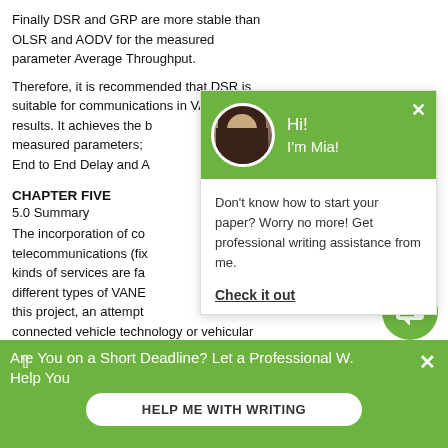Finally DSR and GRP are more stable than OLSR and AODV for the measured parameter Average Throughput.
Therefore, it is recommended that DSR is suitable for communications in VAN... results. It achieves the b... measured parameters; End to End Delay and A...
CHAPTER FIVE
5.0 Summary
The incorporation of co... telecommunications (fix... kinds of services are fa... different types of VANE... this project, an attempt... connected vehicle technology or vehicular
[Figure (screenshot): Chat popup overlay showing avatar of 'Mia' with green header saying 'Hi! I'm Mia!' and body text 'Don't know how to start your paper? Worry no more! Get professional writing assistance from me.' with a 'Check it out' link.]
Are You on a Short Deadline? Let a Professional W... Help You
HELP ME WITH WRITING